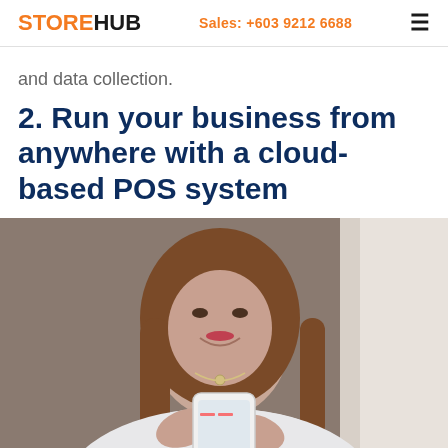STOREHUB  Sales: +603 9212 6688
and data collection.
2. Run your business from anywhere with a cloud-based POS system
[Figure (photo): A young woman with long brown hair smiling and holding a white smartphone, wearing a white top and a necklace. The background is blurred with a light, bright area on the right side.]